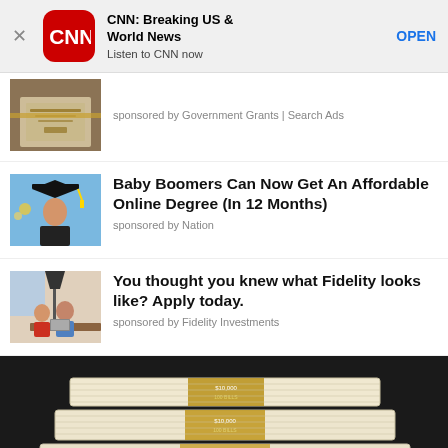[Figure (screenshot): CNN app banner with red CNN logo icon, title 'CNN: Breaking US & World News', subtitle 'Listen to CNN now', and OPEN button. Close X button on left.]
[Figure (photo): Partial news feed item showing diploma/graduation image thumbnail with 'sponsored by Government Grants | Search Ads' text]
Baby Boomers Can Now Get An Affordable Online Degree (In 12 Months)
sponsored by Nation
You thought you knew what Fidelity looks like? Apply today.
sponsored by Fidelity Investments
[Figure (photo): Large photo of stacks of bundled US dollar bills with $10,000 bands, photographed on dark background]